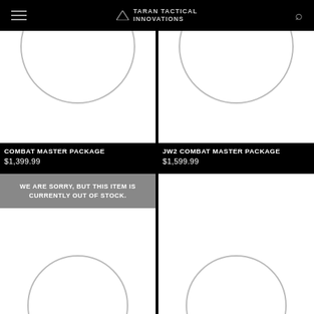Taran Tactical Innovations
[Figure (photo): Product image for Combat Master Package, white background with circular arc graphic]
COMBAT MASTER PACKAGE
$1,399.99
[Figure (photo): Product image for JW2 Combat Master Package, white background with circular arc graphic]
JW2 COMBAT MASTER PACKAGE
$1,599.99
[Figure (photo): Product image with out of stock banner overlay, white background with circular arc graphic]
WE ARE SORRY, BUT THIS ITEM IS CURRENTLY OUT OF STOCK.
[Figure (photo): Product image, white background with circular arc graphic at bottom]